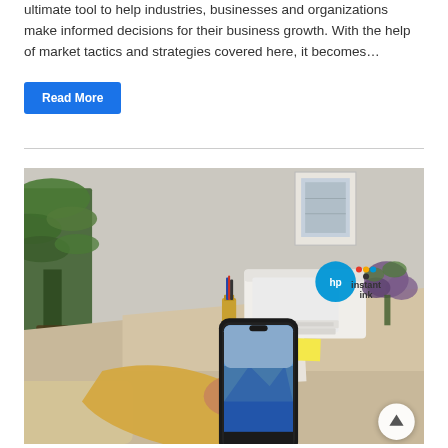ultimate tool to help industries, businesses and organizations make informed decisions for their business growth. With the help of market tactics and strategies covered here, it becomes…
Read More
[Figure (photo): Person holding a smartphone displaying a photo app, sitting at a desk with an HP printer and plants in the background. HP Instant Ink logo visible in the upper right of the image.]